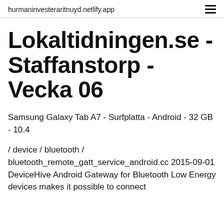hurmaninvesteraritnuyd.netlify.app
Lokaltidningen.se - Staffanstorp - Vecka 06
Samsung Galaxy Tab A7 - Surfplatta - Android - 32 GB - 10.4
/ device / bluetooth / bluetooth_remote_gatt_service_android.cc 2015-09-01 DeviceHive Android Gateway for Bluetooth Low Energy devices makes it possible to connect